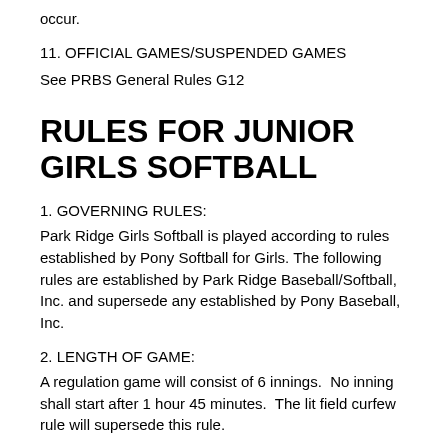occur.
11. OFFICIAL GAMES/SUSPENDED GAMES
See PRBS General Rules G12
RULES FOR JUNIOR GIRLS SOFTBALL
1. GOVERNING RULES:
Park Ridge Girls Softball is played according to rules established by Pony Softball for Girls. The following rules are established by Park Ridge Baseball/Softball, Inc. and supersede any established by Pony Baseball, Inc.
2. LENGTH OF GAME:
A regulation game will consist of 6 innings.  No inning shall start after 1 hour 45 minutes.  The lit field curfew rule will supersede this rule.
3. FIELD DIMENSIONS AND EQUIPMENT: